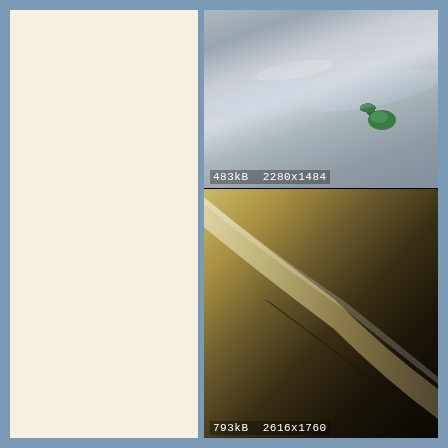[Figure (photo): Close-up photograph of a glass test tube or flask containing a small amount of green powder/solid material, with laboratory glassware in the background. Image metadata overlay shows file size and dimensions.]
483kB  2280x1484
[Figure (photo): Close-up photograph of a glass test tube or vial lying at an angle, containing a yellow-brown to dark solid material, with dark laboratory equipment visible in the background. Image metadata overlay shows file size and dimensions.]
793kB  2616x1760
[Figure (photo): Three small glass vials/bottles with white labels on a dark background. Labels read: Hydroxylamine Alone, Hydroxylamine + Problem, Hydroxylamine + Ethyl Acetate]